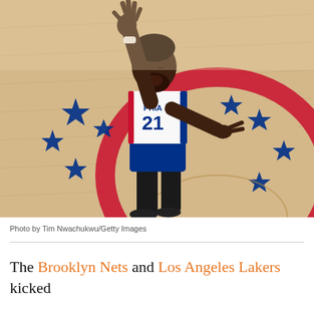[Figure (photo): NBA player wearing Philadelphia 76ers jersey number 21 with one hand raised and other hand pointing, standing on the 76ers court logo with blue stars and red arc visible on the hardwood floor]
Photo by Tim Nwachukwu/Getty Images
The Brooklyn Nets and Los Angeles Lakers kicked